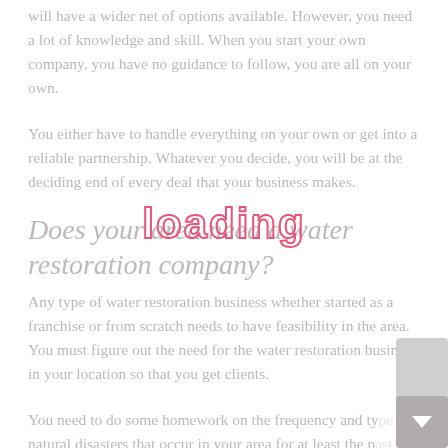will have a wider net of options available. However, you need a lot of knowledge and skill. When you start your own company, you have no guidance to follow, you are all on your own.
You either have to handle everything on your own or get into a reliable partnership. Whatever you decide, you will be at the deciding end of every deal that your business makes.
Does your area need a water restoration company?
Any type of water restoration business whether started as a franchise or from scratch needs to have feasibility in the area. You must figure out the need for the water restoration business in your location so that you get clients.
You need to do some homework on the frequency and type of natural disasters that occur in your area for at least the past ten